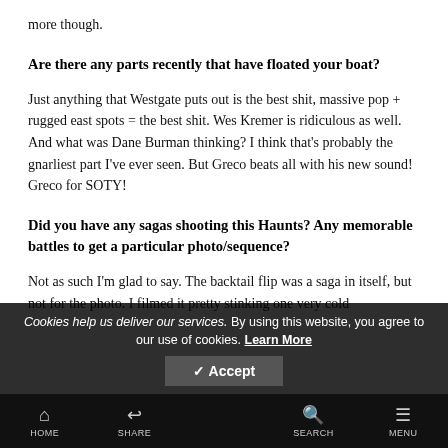more though.
Are there any parts recently that have floated your boat?
Just anything that Westgate puts out is the best shit, massive pop + rugged east spots = the best shit. Wes Kremer is ridiculous as well. And what was Dane Burman thinking? I think that's probably the gnarliest part I've ever seen. But Greco beats all with his new sound! Greco for SOTY!
Did you have any sagas shooting this Haunts? Any memorable battles to get a particular photo/sequence?
Not as such I'm glad to say. The backtail flip was a saga in itself, but not for the photo. I filmed it pretty stinking one very cold
Cookies help us deliver our services. By using this website, you agree to our use of cookies. Learn More
HOME   SHARE   ACCEPT   SEARCH   MENU